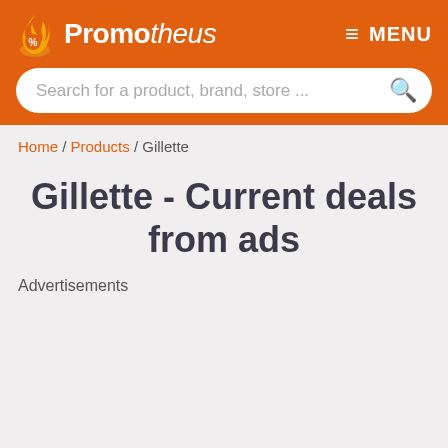Promotheus — MENU
Search for a product, brand, store ...
Home / Products / Gillette
Gillette - Current deals from ads
Advertisements